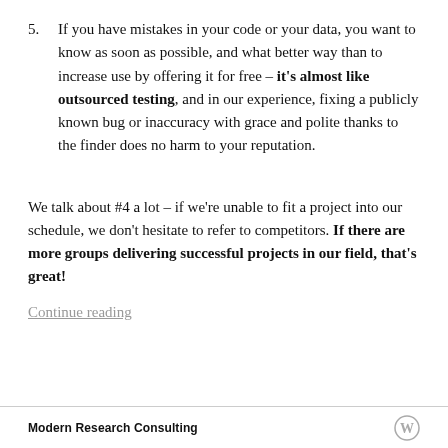5. If you have mistakes in your code or your data, you want to know as soon as possible, and what better way than to increase use by offering it for free – it's almost like outsourced testing, and in our experience, fixing a publicly known bug or inaccuracy with grace and polite thanks to the finder does no harm to your reputation.
We talk about #4 a lot – if we're unable to fit a project into our schedule, we don't hesitate to refer to competitors. If there are more groups delivering successful projects in our field, that's great!
Continue reading
Modern Research Consulting